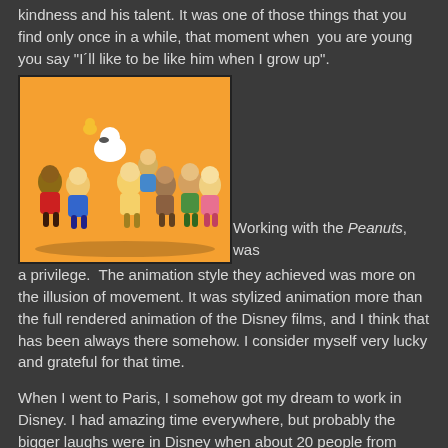kindness and his talent. It was one of those things that you find only once in a while, that moment when you are young you say "I´ll like to be like him when I grow up".
[Figure (illustration): Peanuts cartoon characters group illustration on orange background: Franklin, Snoopy, Charlie Brown, Lucy, Pigpen, Peppermint Patty, Sally, Schroeder, Woodstock and others]
Working with the Peanuts, was a privilege. The animation style they achieved was more on the illusion of movement. It was stylized animation more than the full rendered animation of the Disney films, and I think that has been always there somehow. I consider myself very lucky and grateful for that time.
When I went to Paris, I somehow got my dream to work in Disney. I had amazing time everywhere, but probably the bigger laughs were in Disney when about 20 people from different countries we were trying to learn French in the same class, and all of them from the studio, you can imagine ... we learned a lot.